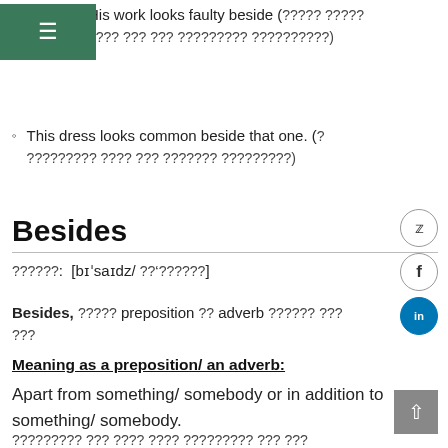[Figure (other): Green hamburger menu icon in top-left corner]
His work looks faulty beside (????? ????? ???? ??? ??? ????????? ??????????)
This dress looks common beside that one. (? ????????? ???? ??? ??????? ??????????)
Besides
??????: [bɪˈsaɪdz/ ??ˈ??????]
Besides, ?????? preposition ?? adverb ?????? ??? ??? ???
Meaning as a preposition/ an adverb:
Apart from something/ somebody or in addition to something/ somebody.
????????? ??? ???? ???? ????????? ??? ???